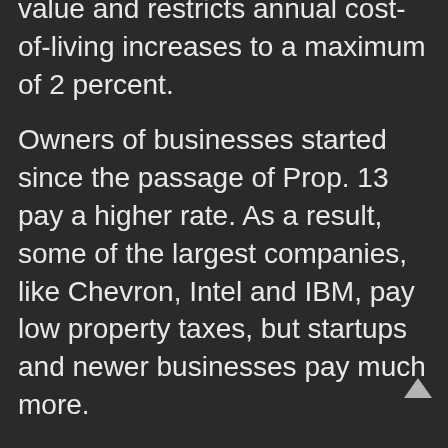value and restricts annual cost-of-living increases to a maximum of 2 percent.
Owners of businesses started since the passage of Prop. 13 pay a higher rate. As a result, some of the largest companies, like Chevron, Intel and IBM, pay low property taxes, but startups and newer businesses pay much more.
Speakers at the town hall included State Senators Nancy Skinner and Scott Weiner, Assemblyman Rob Bonta and Alameda County Supervisor Keith Carson.
“It going to take all of us working together to make a make a fix to Prop. 13. We’re going to